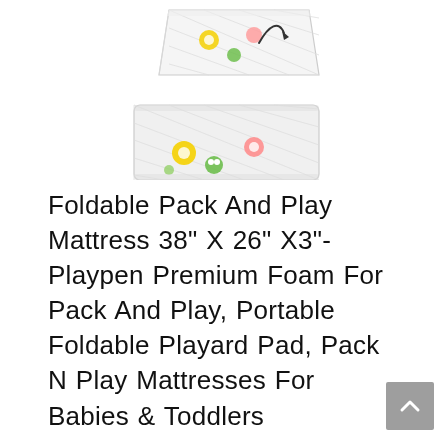[Figure (photo): Product image of a foldable foam mattress with colorful cartoon animal and flower print, shown partially folded open with an arrow indicating the fold direction.]
Foldable Pack And Play Mattress 38" X 26" X3"-Playpen Premium Foam For Pack And Play, Portable Foldable Playard Pad, Pack N Play Mattresses For Babies & Toddlers